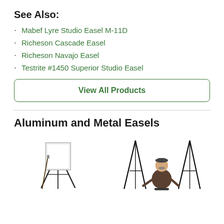See Also:
Mabef Lyre Studio Easel M-11D
Richeson Cascade Easel
Richeson Navajo Easel
Testrite #1450 Superior Studio Easel
View All Products
Aluminum and Metal Easels
[Figure (photo): Photo of a studio easel with a white canvas on a tripod stand, with a paintbrush leaning against it.]
[Figure (photo): Photo of a man in an apron and cap standing between two metal easels.]